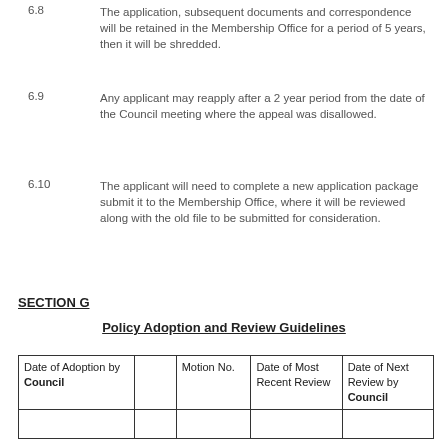6.8	The application, subsequent documents and correspondence will be retained in the Membership Office for a period of 5 years, then it will be shredded.
6.9	Any applicant may reapply after a 2 year period from the date of the Council meeting where the appeal was disallowed.
6.10	The applicant will need to complete a new application package submit it to the Membership Office, where it will be reviewed along with the old file to be submitted for consideration.
SECTION G
Policy Adoption and Review Guidelines
| Date of Adoption by Council |  | Motion No. | Date of Most Recent Review | Date of Next Review by Council |
| --- | --- | --- | --- | --- |
|  |  |  |  |  |
|  |  |  |  |  |